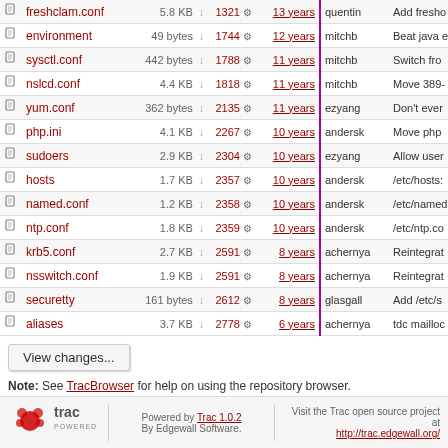|  | Name | Size |  | Rev |  | Age | Author | Description |
| --- | --- | --- | --- | --- | --- | --- | --- | --- |
|  | freshclam.conf | 5.8 KB | ↓ | 1321 | ⚙ | 13 years | quentin | Add fresho |
|  | environment | 49 bytes | ↓ | 1744 | ⚙ | 12 years | mitchb | Beat java e |
|  | sysctl.conf | 442 bytes | ↓ | 1788 | ⚙ | 11 years | mitchb | Switch fro |
|  | nslcd.conf | 4.4 KB | ↓ | 1818 | ⚙ | 11 years | mitchb | Move 389- |
|  | yum.conf | 362 bytes | ↓ | 2135 | ⚙ | 11 years | ezyang | Don't ever |
|  | php.ini | 4.1 KB | ↓ | 2267 | ⚙ | 10 years | andersk | Move php |
|  | sudoers | 2.9 KB | ↓ | 2304 | ⚙ | 10 years | ezyang | Allow user |
|  | hosts | 1.7 KB | ↓ | 2357 | ⚙ | 10 years | andersk | /etc/hosts: |
|  | named.conf | 1.2 KB | ↓ | 2358 | ⚙ | 10 years | andersk | /etc/named |
|  | ntp.conf | 1.8 KB | ↓ | 2359 | ⚙ | 10 years | andersk | /etc/ntp.co |
|  | krb5.conf | 2.7 KB | ↓ | 2591 | ⚙ | 8 years | achernya | Reintegrat |
|  | nsswitch.conf | 1.9 KB | ↓ | 2591 | ⚙ | 8 years | achernya | Reintegrat |
|  | securetty | 161 bytes | ↓ | 2612 | ⚙ | 8 years | glasgall | Add /etc/s |
|  | aliases | 3.7 KB | ↓ | 2778 | ⚙ | 6 years | achernya | tdc mailloc |
View changes...
Note: See TracBrowser for help on using the repository browser.
Powered by Trac 1.0.2 By Edgewall Software. Visit the Trac open source project at http://trac.edgewall.org/